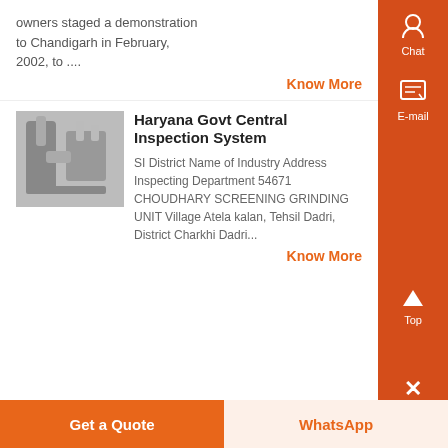owners staged a demonstration to Chandigarh in February, 2002, to ....
Know More
[Figure (photo): Grayscale photo of industrial machinery with pipes and equipment]
Haryana Govt Central Inspection System
SI District Name of Industry Address Inspecting Department 54671 CHOUDHARY SCREENING GRINDING UNIT Village Atela kalan, Tehsil Dadri, District Charkhi Dadri...
Know More
Get a Quote
WhatsApp